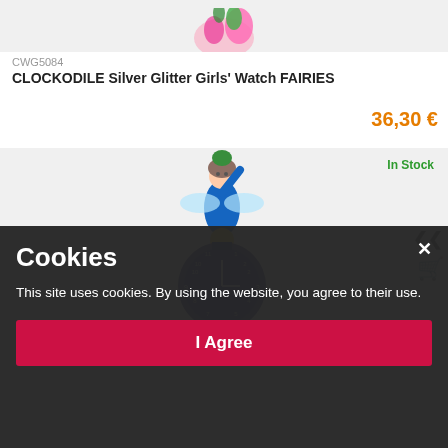[Figure (photo): Partial product image at top (floral/pink design)]
CWG5084
CLOCKODILE Silver Glitter Girls' Watch FAIRIES
36,30 €
[Figure (photo): Second product card showing a girls fairy watch with blue character illustration and watch face]
In Stock
Cookies
This site uses cookies. By using the website, you agree to their use.
I Agree